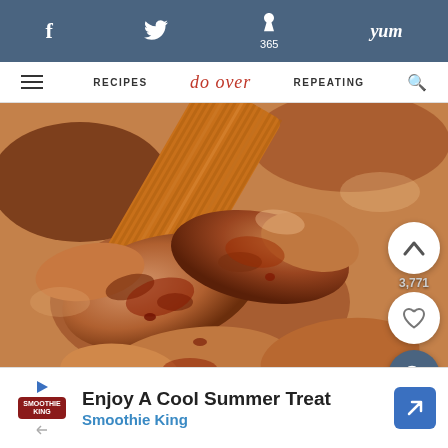f  [twitter bird] 365  p  yum
RECIPES  do over  REPEATING  [search]
[Figure (photo): Close-up photo of spiced and glazed chicken wings being brushed with sauce using a silicone pastry brush on a white surface]
3,771
Enjoy A Cool Summer Treat  Smoothie King